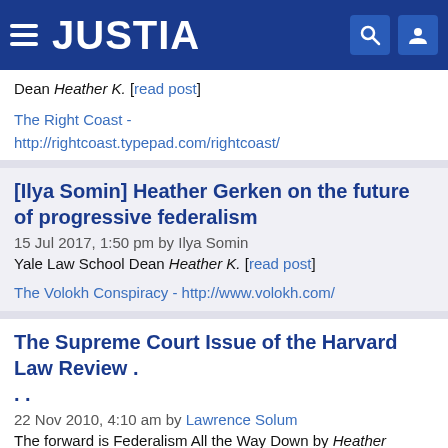JUSTIA
Dean Heather K. [read post]
The Right Coast - http://rightcoast.typepad.com/rightcoast/
[Ilya Somin] Heather Gerken on the future of progressive federalism
15 Jul 2017, 1:50 pm by Ilya Somin
Yale Law School Dean Heather K. [read post]
The Volokh Conspiracy - http://www.volokh.com/
The Supreme Court Issue of the Harvard Law Review . . .
22 Nov 2010, 4:10 am by Lawrence Solum
The forward is Federalism All the Way Down by Heather